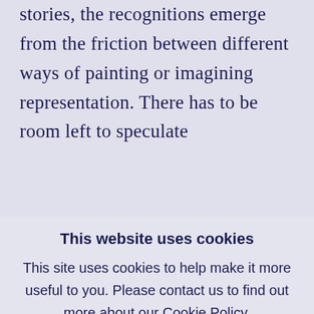stories, the recognitions emerge from the friction between different ways of painting or imagining representation. There has to be room left to speculate
This website uses cookies
This site uses cookies to help make it more useful to you. Please contact us to find out more about our Cookie Policy.
MANAGE COOKIES
ACCEPT